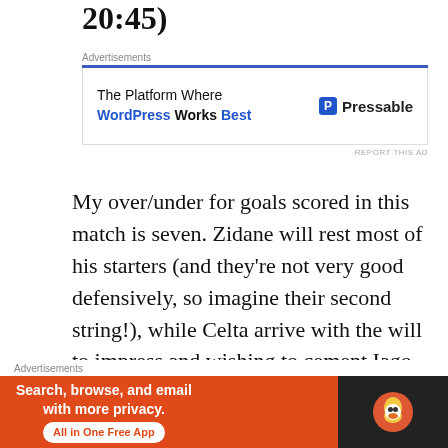20:45)
[Figure (screenshot): Pressable advertisement banner: 'The Platform Where WordPress Works Best' with Pressable logo]
My over/under for goals scored in this match is seven. Zidane will rest most of his starters (and they're not very good defensively, so imagine their second string!), while Celta arrive with the will to impress and wishing to cement Iago Aspas's position in the Spanish national team with a good performance.
Like Zidane said after the bizarre midweek
[Figure (screenshot): DuckDuckGo advertisement banner: 'Search, browse, and email with more privacy. All in One Free App' with DuckDuckGo logo]